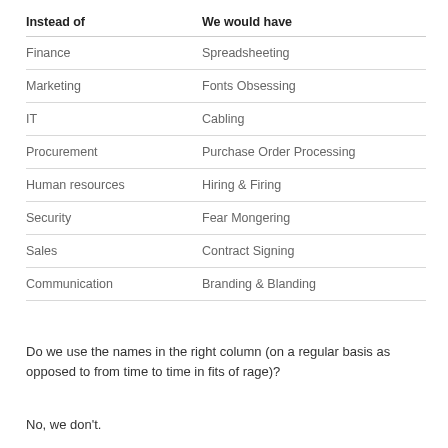| Instead of | We would have |
| --- | --- |
| Finance | Spreadsheeting |
| Marketing | Fonts Obsessing |
| IT | Cabling |
| Procurement | Purchase Order Processing |
| Human resources | Hiring & Firing |
| Security | Fear Mongering |
| Sales | Contract Signing |
| Communication | Branding & Blanding |
Do we use the names in the right column (on a regular basis as opposed to from time to time in fits of rage)?
No, we don't.